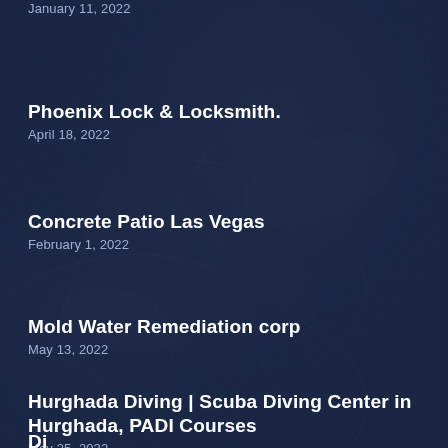January 11, 2022
Phoenix Lock & Locksmith.
April 18, 2022
Concrete Patio Las Vegas
February 1, 2022
Mold Water Remediation corp
May 13, 2022
Hurghada Diving | Scuba Diving Center in Hurghada, PADI Courses
May 25, 2022
Di...